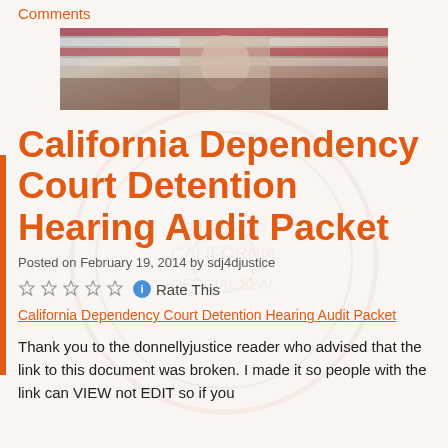Comments
[Figure (photo): Partial photo of a person in what appears to be a courtroom or official setting, cropped to show upper portion]
California Dependency Court Detention Hearing Audit Packet
Posted on February 19, 2014 by sdj4djustice
Rate This
California Dependency Court Detention Hearing Audit Packet
Thank you to the donnellyjustice reader who advised that the link to this document was broken. I made it so people with the link can VIEW not EDIT so if you